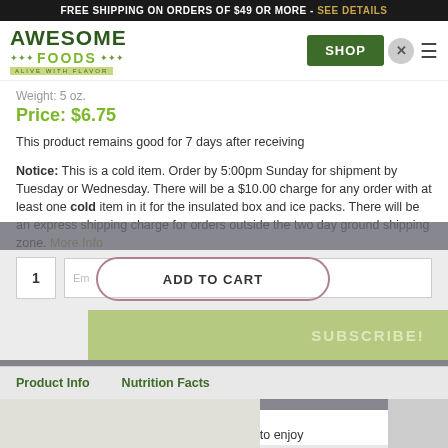FREE SHIPPING ON ORDERS OF $49 OR MORE - SEE DETAILS
[Figure (logo): Awesome Foods logo with tagline ALIVE WITH FLAVOR]
Weight: 5 oz.
Price: $6.75
This product remains good for 7 days after receiving
Notice: This is a cold item. Order by 5:00pm Sunday for shipment by Tuesday or Wednesday. There will be a $10.00 charge for any order with at least one cold item in it for the insulated box and ice packs. There will be an express shipping charge for orders outside the two day ground shipping zone. More Info
ADD TO CART
SUBSCRIBE!
Product Info
Nutrition Facts
DESCRIPTION:
You won't have to travel south to the border to enjoy